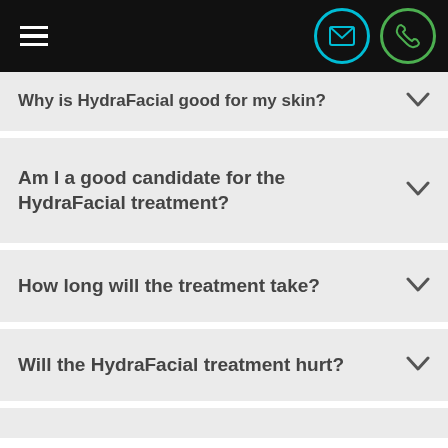Navigation bar with hamburger menu, email icon, phone icon
Why is HydraFacial good for my skin?
Am I a good candidate for the HydraFacial treatment?
How long will the treatment take?
Will the HydraFacial treatment hurt?